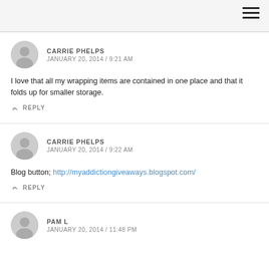CARRIE PHELPS
JANUARY 20, 2014 / 9:21 AM
I love that all my wrapping items are contained in one place and that it folds up for smaller storage.
REPLY
CARRIE PHELPS
JANUARY 20, 2014 / 9:22 AM
Blog button; http://myaddictiongiveaways.blogspot.com/
REPLY
PAM L
JANUARY 20, 2014 / 11:48 PM